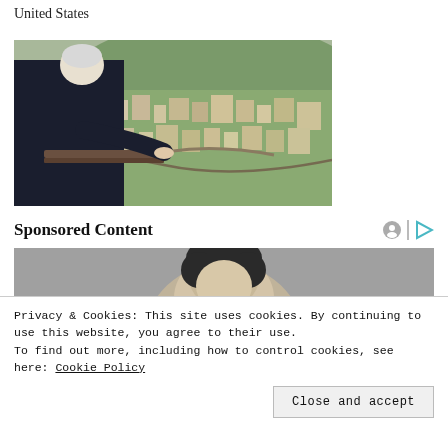United States
[Figure (photo): Elderly man with white hair leaning on a railing on a balcony, looking out over a hillside city landscape with buildings and terraced vegetation.]
Sponsored Content
[Figure (photo): Close-up partial photo of a person's face used as sponsored content advertisement.]
Privacy & Cookies: This site uses cookies. By continuing to use this website, you agree to their use. To find out more, including how to control cookies, see here: Cookie Policy
Close and accept